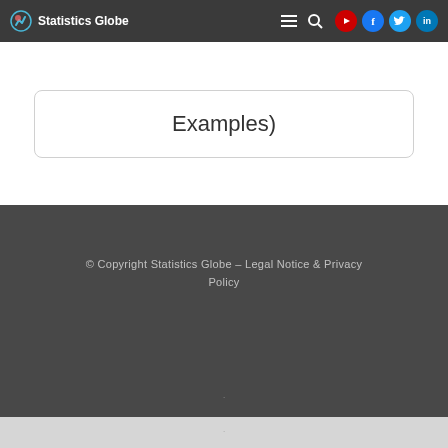Statistics Globe
Examples)
© Copyright Statistics Globe – Legal Notice & Privacy Policy